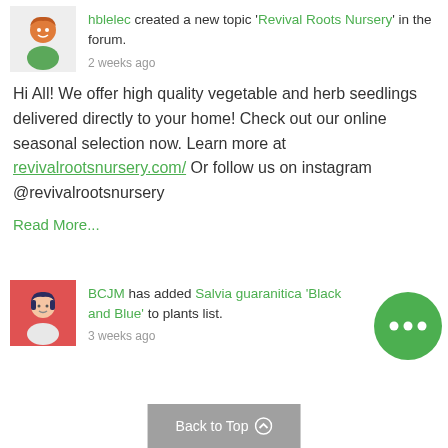hblelec created a new topic 'Revival Roots Nursery' in the forum.
2 weeks ago
Hi All! We offer high quality vegetable and herb seedlings delivered directly to your home! Check out our online seasonal selection now. Learn more at revivalrootsnursery.com/ Or follow us on instagram @revivalrootsnursery
Read More...
BCJM has added Salvia guaranitica 'Black and Blue' to plants list.
3 weeks ago
[Figure (illustration): Green circular chat bubble icon with three dots]
Back to Top